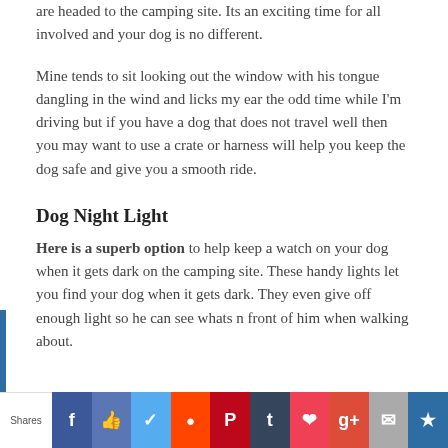are headed to the camping site. Its an exciting time for all involved and your dog is no different.
Mine tends to sit looking out the window with his tongue dangling in the wind and licks my ear the odd time while I'm driving but if you have a dog that does not travel well then you may want to use a crate or harness will help you keep the dog safe and give you a smooth ride.
Dog Night Light
Here is a superb option to help keep a watch on your dog when it gets dark on the camping site. These handy lights let you find your dog when it gets dark. They even give off enough light so he can see whats n front of him when walking about.
Shares | Facebook | Like | Twitter | Reddit | Pinterest | Tumblr | Pocket | Google+ | Email | More